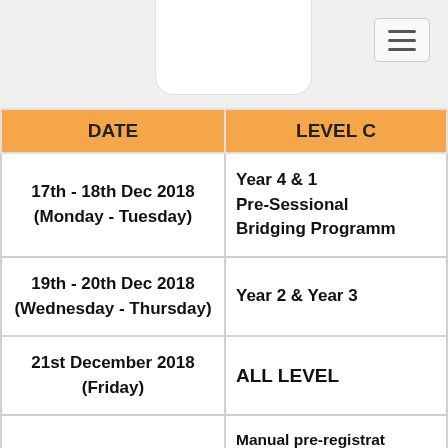| DATE | LEVEL O |
| --- | --- |
| 17th - 18th Dec 2018 (Monday - Tuesday) | Year 4 & 1 Pre-Sessional Bridging Programme |
| 19th - 20th Dec 2018 (Wednesday - Thursday) | Year 2 & Year 3 |
| 21st December 2018 (Friday) | ALL LEVEL |
| 21st December 2018 | Manual pre-registration valid reason at:- https://bit. or [QR code] |